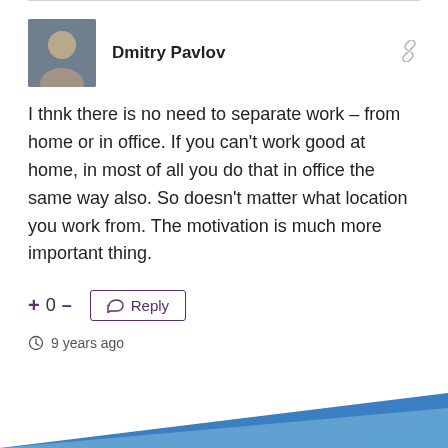Dmitry Pavlov
I thnk there is no need to separate work – from home or in office. If you can't work good at home, in most of all you do that in office the same way also. So doesn't matter what location you work from. The motivation is much more important thing.
9 years ago